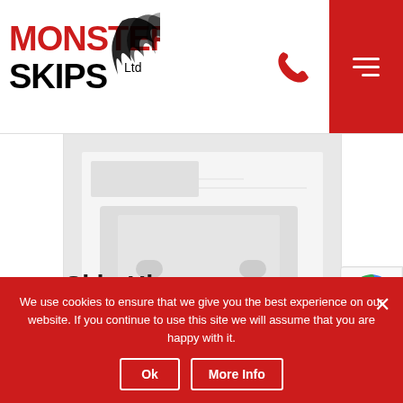[Figure (logo): Monster Skips Ltd logo with red MONSTER text and black SKIPS Ltd text with decorative splash/wing graphic]
[Figure (photo): Faded/greyed out background hero image showing skip hire related imagery]
Skip Hire Hollywood
[Figure (other): reCAPTCHA badge partially visible on the right side]
We use cookies to ensure that we give you the best experience on our website. If you continue to use this site we will assume that you are happy with it.